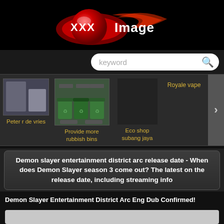[Figure (logo): XXX Image website logo with red flame graphic and white bold text]
[Figure (screenshot): Search bar with placeholder text 'keyword' and blue search icon]
[Figure (screenshot): Horizontal carousel with thumbnail images and labels: Peter r de vries, Provide more rubbish bins, Eco shop subang jaya, Royale vape, Sunscreen biore, with a next arrow button]
Demon slayer entertainment district arc release date - When does Demon Slayer season 3 come out? The latest on the release date, including streaming info
Demon Slayer Entertainment District Arc Eng Dub Confirmed!